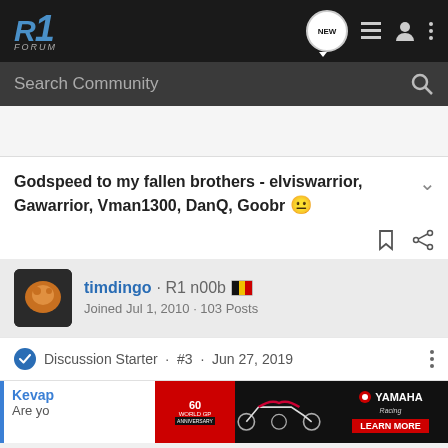R1-FORUM — navigation bar with NEW, list, user, and menu icons
Search Community
Godspeed to my fallen brothers - elviswarrior, Gawarrior, Vman1300, DanQ, Goobr 😐
timdingo · R1 n00b 🇧🇪
Joined Jul 1, 2010 · 103 Posts
Discussion Starter · #3 · Jun 27, 2019
[Figure (screenshot): Yamaha advertisement banner showing motorcycles and '60 World GP Anniversary' logo with LEARN MORE button]
Kevap
Are yo